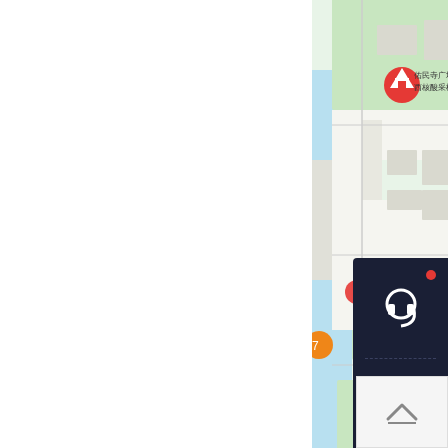[Figure (map): Baidu map screenshot showing 佑民寺广场西核酸采样点 (Youmins Temple Square West Nucleic Acid Sampling Point) with a location pin, various map icons, and the Baidu Maps 百度地图 logo visible. A dark sidebar panel with headset, phone, QR code, and email icons is overlaid on the right side.]
佑民寺广场
西核酸采样点
□□□□
□□
□□:079186116090
E-mail:na...ge